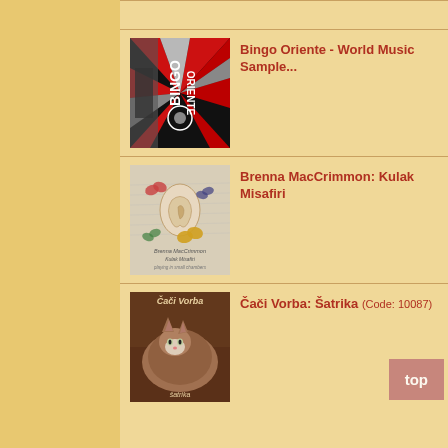[Figure (photo): Bingo Oriente album cover - red and black design with text BINGO ORIENTE]
Bingo Oriente - World Music Sample...
[Figure (photo): Brenna MacCrimmon: Kulak Misafiri album cover - ear with butterflies on aged paper background]
Brenna MacCrimmon: Kulak Misafiri
[Figure (photo): Čači Vorba: Šatrika album cover - cat illustration]
Čači Vorba: Šatrika (Code: 10087)